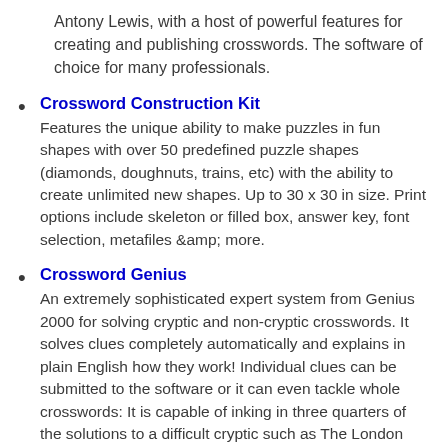Antony Lewis, with a host of powerful features for creating and publishing crosswords. The software of choice for many professionals.
Crossword Construction Kit
Features the unique ability to make puzzles in fun shapes with over 50 predefined puzzle shapes (diamonds, doughnuts, trains, etc) with the ability to create unlimited new shapes. Up to 30 x 30 in size. Print options include skeleton or filled box, answer key, font selection, metafiles &amp; more.
Crossword Genius
An extremely sophisticated expert system from Genius 2000 for solving cryptic and non-cryptic crosswords. It solves clues completely automatically and explains in plain English how they work! Individual clues can be submitted to the software or it can even tackle whole crosswords: It is capable of inking in three quarters of the solutions to a difficult cryptic such as The London Times completely automatically. It is also a game where you can pit your wits against the computer in solving